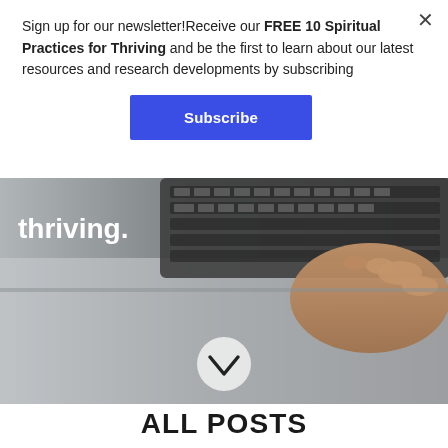Sign up for our newsletter!Receive our FREE 10 Spiritual Practices for Thriving and be the first to learn about our latest resources and research developments by subscribing
Subscribe
[Figure (photo): Close-up photo of a person's hand typing on a laptop keyboard, with the word 'thriving.' overlaid in white text on the lower-left, and a circular chevron/down-arrow button in the center-bottom.]
ALL POSTS